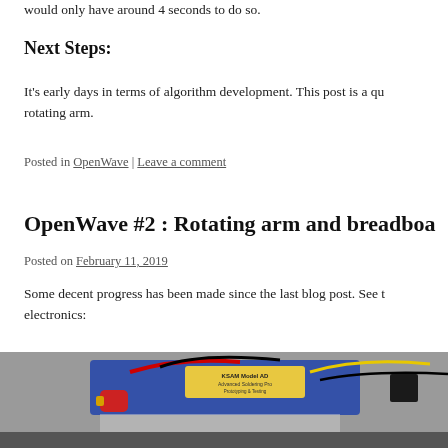would only have around 4 seconds to do so.
Next Steps:
It's early days in terms of algorithm development. This post is a qu… rotating arm.
Posted in OpenWave | Leave a comment
OpenWave #2 : Rotating arm and breadboa…
Posted on February 11, 2019
Some decent progress has been made since the last blog post. See t… electronics:
[Figure (photo): Photo of electronics breadboard setup with soldering equipment, wires, and components including a blue Advanced Soldering board (Model AD) and battery-related components.]